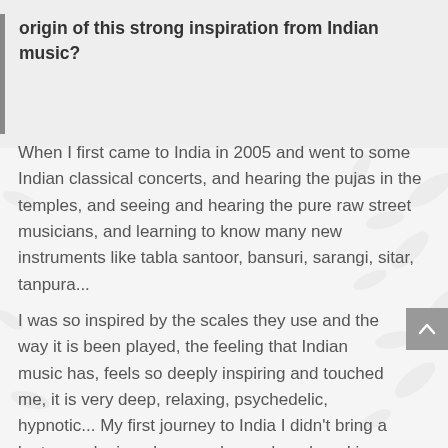origin of this strong inspiration from Indian music?
When I first came to India in 2005 and went to some Indian classical concerts, and hearing the pujas in the temples, and seeing and hearing the pure raw street musicians, and learning to know many new instruments like tabla santoor, bansuri, sarangi, sitar, tanpura...
I was so inspired by the scales they use and the way it is been played, the feeling that Indian music has, feels so deeply inspiring and touched me, it is very deep, relaxing, psychedelic, hypnotic... My first journey to India I didn't bring a laptop and microphone and sound card, and i